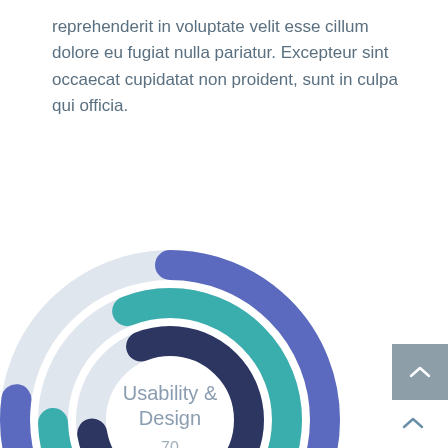reprehenderit in voluptate velit esse cillum dolore eu fugiat nulla pariatur. Excepteur sint occaecat cupidatat non proident, sunt in culpa qui officia.
[Figure (donut-chart): Multi-ring donut chart showing Usability & Design score of 70. Three concentric arcs in blue (#5b6abf), teal (#3aadad), and dark navy (#2d3561), each showing approximately 270-300 degrees filled, with light gray remainder arcs. Center label: 'Usability & Design 70'.]